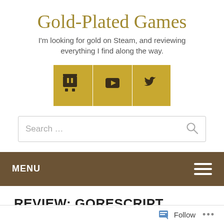Gold-Plated Games
I'm looking for gold on Steam, and reviewing everything I find along the way.
[Figure (infographic): Three gold/yellow square social media icon buttons: Twitch, YouTube, and Twitter]
Search ...
MENU
REVIEW: GORESCRIPT
Follow ...